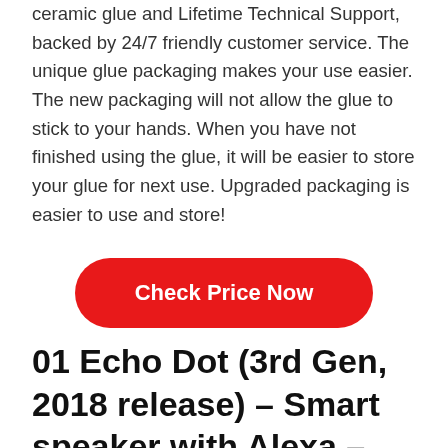ceramic glue and Lifetime Technical Support, backed by 24/7 friendly customer service. The unique glue packaging makes your use easier. The new packaging will not allow the glue to stick to your hands. When you have not finished using the glue, it will be easier to store your glue for next use. Upgraded packaging is easier to use and store!
[Figure (other): Red rounded rectangle button with white bold text reading 'Check Price Now']
01 Echo Dot (3rd Gen, 2018 release) – Smart speaker with Alexa – Charcoal